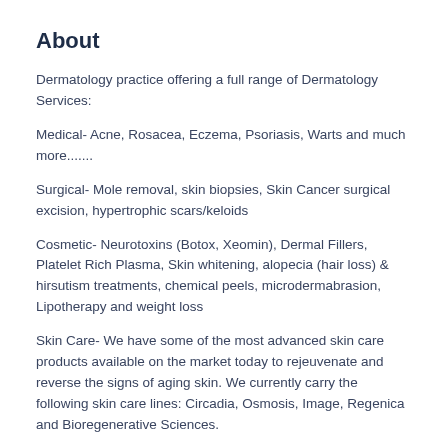About
Dermatology practice offering a full range of Dermatology Services:
Medical- Acne, Rosacea, Eczema, Psoriasis, Warts and much more.......
Surgical- Mole removal, skin biopsies, Skin Cancer surgical excision, hypertrophic scars/keloids
Cosmetic- Neurotoxins (Botox, Xeomin), Dermal Fillers, Platelet Rich Plasma, Skin whitening, alopecia (hair loss) & hirsutism treatments, chemical peels, microdermabrasion, Lipotherapy and weight loss
Skin Care- We have some of the most advanced skin care products available on the market today to rejeuvenate and reverse the signs of aging skin. We currently carry the following skin care lines: Circadia, Osmosis, Image, Regenica and Bioregenerative Sciences.